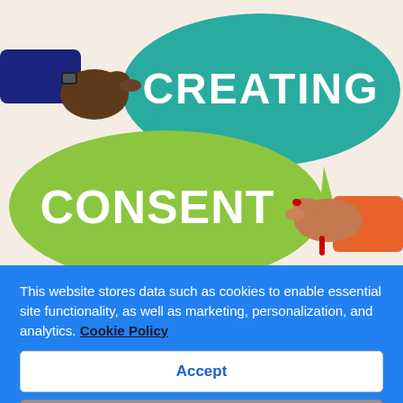[Figure (illustration): Illustration showing two hands holding speech bubbles. Top speech bubble is teal/green with white text 'CREATING'. Bottom speech bubble is yellow-green with white bold text 'CONSENT'. A dark-skinned hand in a suit sleeve with watch holds the teal bubble from the left; a light brown-skinned hand with red nails and a red bracelet holds the green bubble from the right. Background is a light peach/cream color.]
This website stores data such as cookies to enable essential site functionality, as well as marketing, personalization, and analytics. Cookie Policy
Accept
Deny